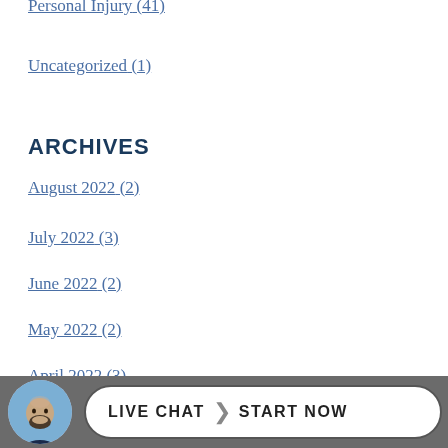Personal Injury (41)
Uncategorized (1)
ARCHIVES
August 2022 (2)
July 2022 (3)
June 2022 (2)
May 2022 (2)
April 2022 (3)
March 2022 (4)
February 2022
LIVE CHAT START NOW